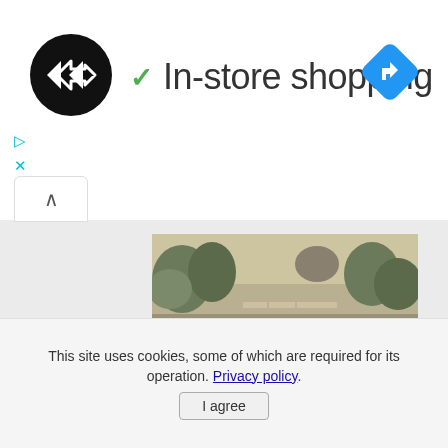[Figure (logo): Black circular logo with overlapping arrow shapes (infinity/loop symbol) in white]
✓ In-store shopping
[Figure (other): Blue diamond-shaped navigation/directions icon with white right-turn arrow]
▷
✕
[Figure (photo): Vintage sepia-toned postcard photograph showing a lake or river scene in Malaysia with trees, a bridge, and their reflections in the water]
This interesting selection of Vintage Postcards gives an idea of how Malaysia used to look a century ago.
Read More
This site uses cookies, some of which are required for its operation. Privacy policy.